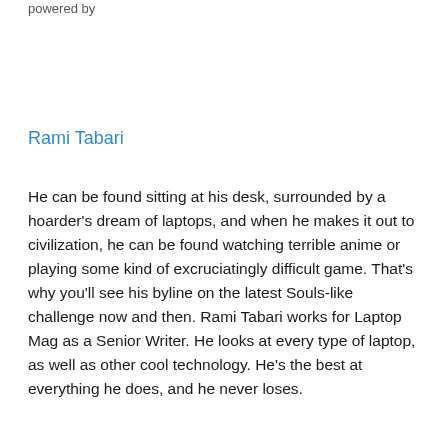powered by
Rami Tabari
He can be found sitting at his desk, surrounded by a hoarder's dream of laptops, and when he makes it out to civilization, he can be found watching terrible anime or playing some kind of excruciatingly difficult game. That's why you'll see his byline on the latest Souls-like challenge now and then. Rami Tabari works for Laptop Mag as a Senior Writer. He looks at every type of laptop, as well as other cool technology. He's the best at everything he does, and he never loses.